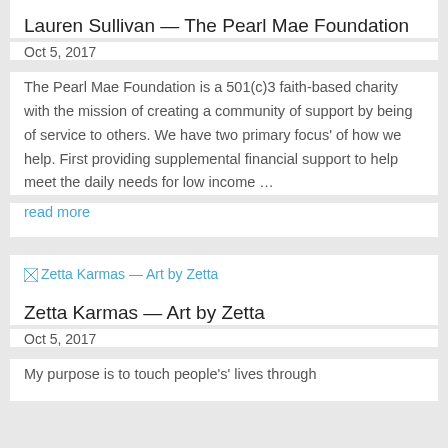Lauren Sullivan — The Pearl Mae Foundation
Oct 5, 2017
The Pearl Mae Foundation is a 501(c)3 faith-based charity with the mission of creating a community of support by being of service to others. We have two primary focus' of how we help. First providing supplemental financial support to help meet the daily needs for low income …
read more
[Figure (illustration): Broken image placeholder link labeled 'Zetta Karmas — Art by Zetta']
Zetta Karmas — Art by Zetta
Oct 5, 2017
My purpose is to touch people's' lives through